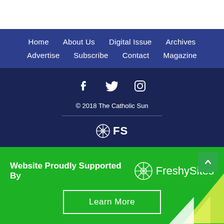Home | About Us | Digital Issue | Archives | Advertise | Subscribe | Contact | Magazine
© 2018 The Catholic Sun
[Figure (logo): FreshySites logo with snowflake icon and FS text]
Website Proudly Supported By FreshySites
Learn More